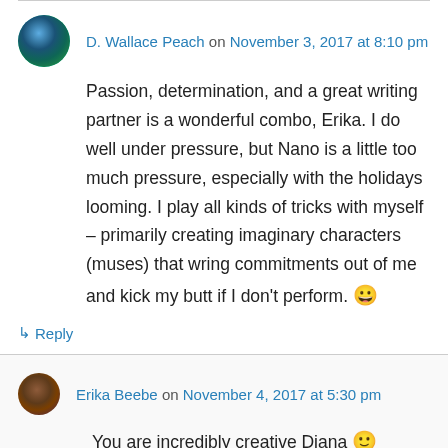D. Wallace Peach on November 3, 2017 at 8:10 pm
Passion, determination, and a great writing partner is a wonderful combo, Erika. I do well under pressure, but Nano is a little too much pressure, especially with the holidays looming. I play all kinds of tricks with myself – primarily creating imaginary characters (muses) that wring commitments out of me and kick my butt if I don't perform. 😀
↳ Reply
Erika Beebe on November 4, 2017 at 5:30 pm
You are incredibly creative Diana 🙂